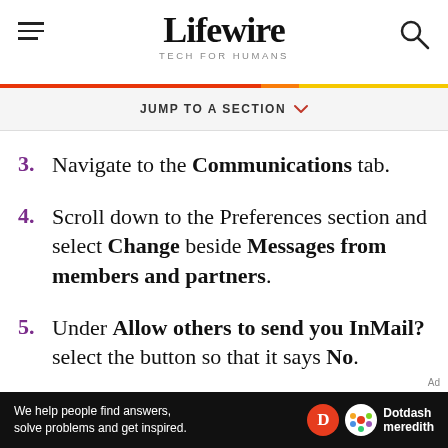Lifewire — TECH FOR HUMANS
JUMP TO A SECTION
3. Navigate to the Communications tab.
4. Scroll down to the Preferences section and select Change beside Messages from members and partners.
5. Under Allow others to send you InMail? select the button so that it says No.
We help people find answers, solve problems and get inspired. Dotdash meredith